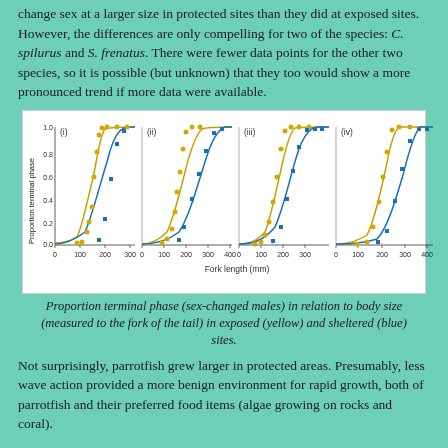change sex at a larger size in protected sites than they did at exposed sites. However, the differences are only compelling for two of the species: C. spilurus and S. frenatus. There were fewer data points for the other two species, so it is possible (but unknown) that they too would show a more pronounced trend if more data were available.
[Figure (continuous-plot): Four panels (i-iv) showing proportion terminal phase (sex-changed males) on y-axis (0.0 to 1.0) vs Fork length (mm) on x-axis. Each panel shows yellow circles (exposed sites) and blue squares (sheltered sites) with sigmoid curves fitted to each dataset. Yellow curves shift left relative to blue curves indicating sex change at smaller size in exposed sites.]
Proportion terminal phase (sex-changed males) in relation to body size (measured to the fork of the tail) in exposed (yellow) and sheltered (blue) sites.
Not surprisingly, parrotfish grew larger in protected areas. Presumably, less wave action provided a more benign environment for rapid growth, both of parrotfish and their preferred food items (algae growing on rocks and coral).